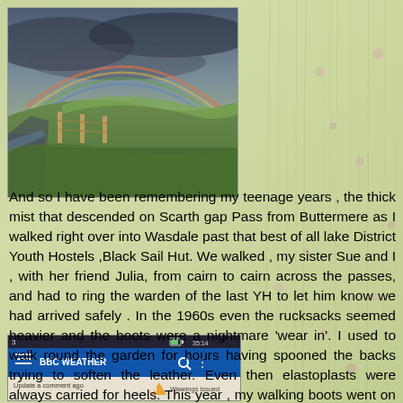[Figure (photo): Outdoor landscape photo showing a road or path with a fence/gate, green rolling hills, and a rainbow in the sky. Lake District countryside scene.]
And so I have been remembering my teenage years , the thick mist that descended on Scarth gap Pass from Buttermere as I walked right over into Wasdale past that best of all lake District Youth Hostels ,Black Sail Hut. We walked , my sister Sue and I , with her friend Julia, from cairn to cairn across the passes, and had to ring the warden of the last YH to let him know we had arrived safely . In the 1960s even the rucksacks seemed heavier and the boots were a nightmare 'wear in'. I used to walk round the garden for hours having spooned the backs trying to soften the leather. Even then elastoplasts were always carried for heels. This year , my walking boots went on in the shop and walked easily ever since.
[Figure (screenshot): Screenshot of a mobile phone screen showing BBC Weather app interface with navigation bar, search icon, and warning/notification at bottom.]